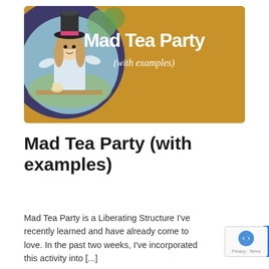[Figure (illustration): Mad Tea Party banner image with golden/mustard background, purple circle on the left containing a photo of a girl in Alice in Wonderland costume with a tall black hat, and white handwritten-style text reading 'Mad Tea Party (with examples)' on the right side.]
Mad Tea Party (with examples)
Mad Tea Party is a Liberating Structure I've recently learned and have already come to love. In the past two weeks, I've incorporated this activity into [...]